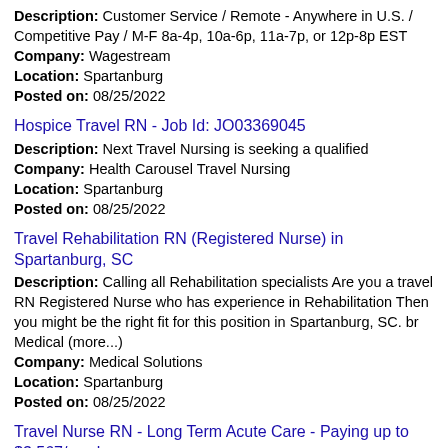Description: Customer Service / Remote - Anywhere in U.S. / Competitive Pay / M-F 8a-4p, 10a-6p, 11a-7p, or 12p-8p EST
Company: Wagestream
Location: Spartanburg
Posted on: 08/25/2022
Hospice Travel RN - Job Id: JO03369045
Description: Next Travel Nursing is seeking a qualified
Company: Health Carousel Travel Nursing
Location: Spartanburg
Posted on: 08/25/2022
Travel Rehabilitation RN (Registered Nurse) in Spartanburg, SC
Description: Calling all Rehabilitation specialists Are you a travel RN Registered Nurse who has experience in Rehabilitation Then you might be the right fit for this position in Spartanburg, SC. br Medical (more...)
Company: Medical Solutions
Location: Spartanburg
Posted on: 08/25/2022
Travel Nurse RN - Long Term Acute Care - Paying up to $3,567/week